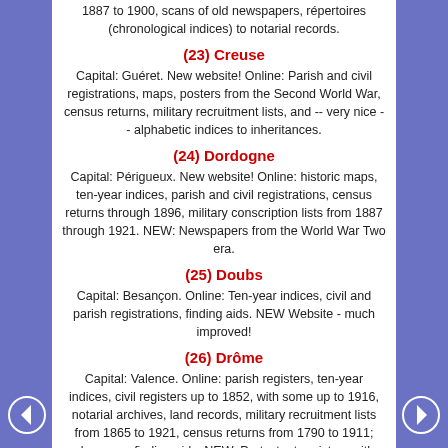1887 to 1900, scans of old newspapers, répertoires (chronological indices) to notarial records.
(23) Creuse
Capital: Guéret. New website! Online: Parish and civil registrations, maps, posters from the Second World War, census returns, military recruitment lists, and -- very nice -- alphabetic indices to inheritances.
(24) Dordogne
Capital: Périgueux. New website! Online: historic maps, ten-year indices, parish and civil registrations, census returns through 1896, military conscription lists from 1887 through 1921. NEW: Newspapers from the World War Two era.
(25) Doubs
Capital: Besançon. Online: Ten-year indices, civil and parish registrations, finding aids. NEW Website - much improved!
(26) Drôme
Capital: Valence. Online: parish registers, ten-year indices, civil registers up to 1852, with some up to 1916, notarial archives, land records, military recruitment lists from 1865 to 1921, census returns from 1790 to 1911; also many finding aids. NEW: Protestant registers with indices!
(27) Eure
Capital: Évreux. Online: parish and civil registers, military